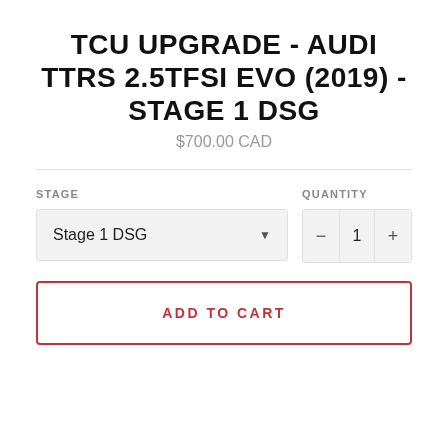TCU UPGRADE - AUDI TTRS 2.5TFSI EVO (2019) - STAGE 1 DSG
$700.00 CAD
STAGE
QUANTITY
Stage 1 DSG
1
ADD TO CART